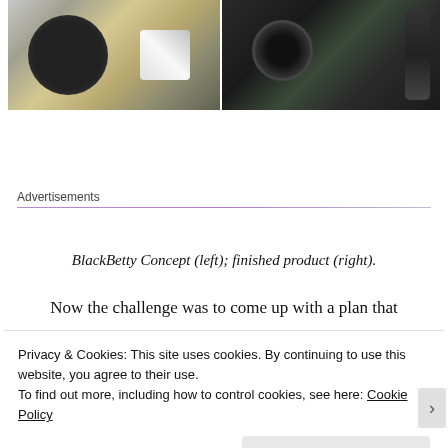[Figure (photo): Two photos side by side: left shows a chrome/silver camera concept (BlackBetty concept) on a yellow/tan surface; right shows a finished black ruggedized camera product on an outdoor background.]
Advertisements
BlackBetty Concept (left); finished product (right).
Now the challenge was to come up with a plan that
Privacy & Cookies: This site uses cookies. By continuing to use this website, you agree to their use.
To find out more, including how to control cookies, see here: Cookie Policy
Close and accept